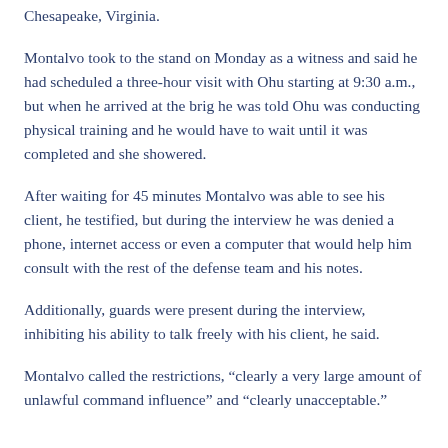Chesapeake, Virginia.
Montalvo took to the stand on Monday as a witness and said he had scheduled a three-hour visit with Ohu starting at 9:30 a.m., but when he arrived at the brig he was told Ohu was conducting physical training and he would have to wait until it was completed and she showered.
After waiting for 45 minutes Montalvo was able to see his client, he testified, but during the interview he was denied a phone, internet access or even a computer that would help him consult with the rest of the defense team and his notes.
Additionally, guards were present during the interview, inhibiting his ability to talk freely with his client, he said.
Montalvo called the restrictions, “clearly a very large amount of unlawful command influence” and “clearly unacceptable.”